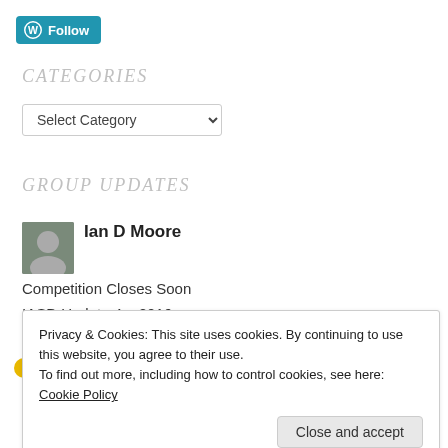[Figure (logo): WordPress Follow button with W logo in teal/blue]
CATEGORIES
[Figure (screenshot): Select Category dropdown widget]
GROUP UPDATES
Ian D Moore
Competition Closes Soon
IASD Update 4 – 2016
Privacy & Cookies: This site uses cookies. By continuing to use this website, you agree to their use. To find out more, including how to control cookies, see here: Cookie Policy
Close and accept
Book Review: Ravens Gathering by Graeme